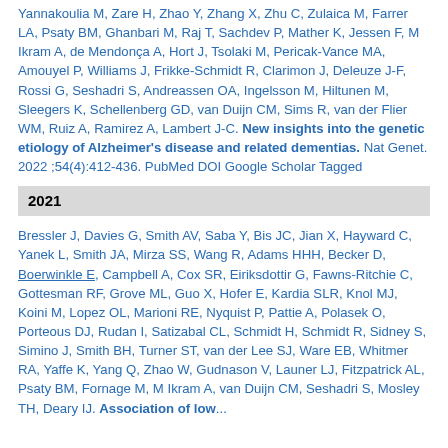Yannakoulia M, Zare H, Zhao Y, Zhang X, Zhu C, Zulaica M, Farrer LA, Psaty BM, Ghanbari M, Raj T, Sachdev P, Mather K, Jessen F, M Ikram A, de Mendonça A, Hort J, Tsolaki M, Pericak-Vance MA, Amouyel P, Williams J, Frikke-Schmidt R, Clarimon J, Deleuze J-F, Rossi G, Seshadri S, Andreassen OA, Ingelsson M, Hiltunen M, Sleegers K, Schellenberg GD, van Duijn CM, Sims R, van der Flier WM, Ruiz A, Ramirez A, Lambert J-C. New insights into the genetic etiology of Alzheimer's disease and related dementias. Nat Genet. 2022 ;54(4):412-436. PubMed DOI Google Scholar Tagged
2021
Bressler J, Davies G, Smith AV, Saba Y, Bis JC, Jian X, Hayward C, Yanek L, Smith JA, Mirza SS, Wang R, Adams HHH, Becker D, Boerwinkle E, Campbell A, Cox SR, Eiriksdottir G, Fawns-Ritchie C, Gottesman RF, Grove ML, Guo X, Hofer E, Kardia SLR, Knol MJ, Koini M, Lopez OL, Marioni RE, Nyquist P, Pattie A, Polasek O, Porteous DJ, Rudan I, Satizabal CL, Schmidt H, Schmidt R, Sidney S, Simino J, Smith BH, Turner ST, van der Lee SJ, Ware EB, Whitmer RA, Yaffe K, Yang Q, Zhao W, Gudnason V, Launer LJ, Fitzpatrick AL, Psaty BM, Fornage M, M Ikram A, van Duijn CM, Seshadri S, Mosley TH, Deary IJ. Association of low...